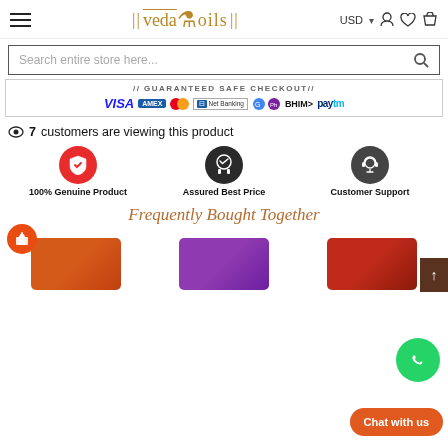VedaOils — USD — hamburger menu, user, wishlist, cart icons
Search entire store here...
[Figure (other): Guaranteed Safe Checkout banner with payment logos: VISA, AMEX, Mastercard, Net Banking, GPAY, PhonePe, BHIM, Paytm]
7 customers are viewing this product
[Figure (infographic): Three trust badges: 100% Genuine Product (red shield icon), Assured Best Price (ribbon/medal icon), Customer Support (headset icon)]
Frequently Bought Together
[Figure (photo): Three product thumbnail images shown side by side: orange powder, purple powder, red powder. A gift icon button is shown in the bottom-left corner.]